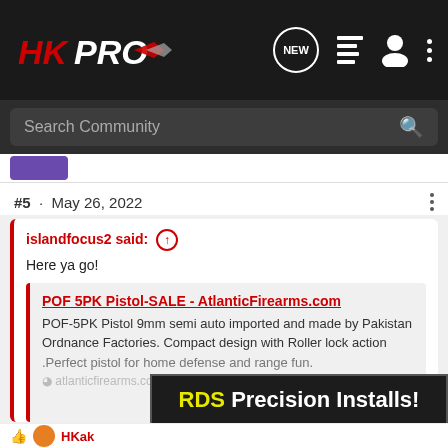HKPRO navigation bar with logo, NEW button, menu icons
Search Community
#5 · May 26, 2022
islandfocus2 said: ↑
Here ya go!
POF 5PK Pistol-SALE - AtlanticFirearms.com
POF-5PK Pistol 9mm semi auto imported and made by Pakistan Ordnance Factories. Compact design with Roller lock action .Perfect pistol for home defense and range fun.
atlanticfirearms.com
Click to expand...
I literally just looked. It wasn't there. Thank you!
[Figure (screenshot): RDS Precision Installs! advertisement banner with yellow RDS text and white Precision Installs text on dark background]
HKak...